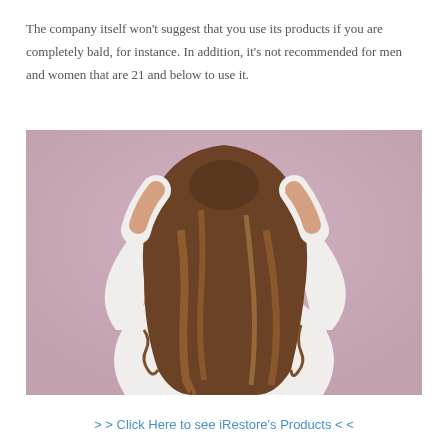The company itself won't suggest that you use its products if you are completely bald, for instance. In addition, it's not recommended for men and women that are 21 and below to use it.
[Figure (photo): A person with long wavy brown hair seen from behind, wearing a white sweater, with both hands raised to their head, against a pink/mauve background.]
> > Click Here to see iRestore's Products < <